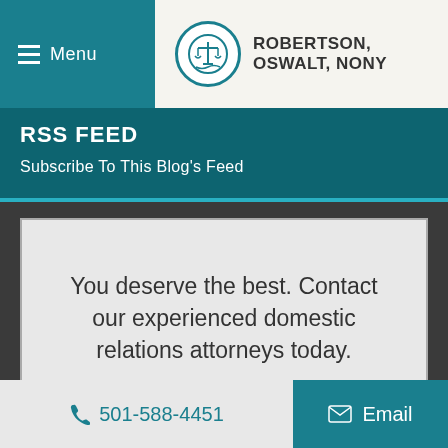Menu
ROBERTSON, OSWALT, NONY
RSS FEED
Subscribe To This Blog's Feed
You deserve the best. Contact our experienced domestic relations attorneys today.
501-588-4451  Email